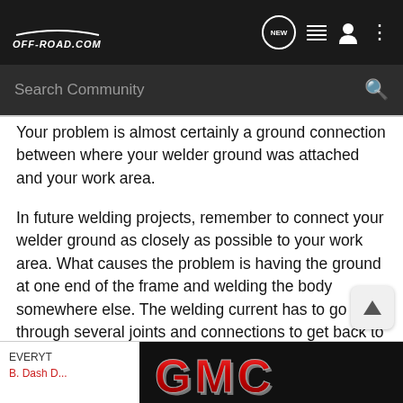[Figure (screenshot): OFF-ROAD.COM navigation bar with logo, NEW chat icon, list icon, user icon, and more options icon on dark background]
[Figure (screenshot): Search Community search bar on dark background with magnifying glass icon]
Your problem is almost certainly a ground connection between where your welder ground was attached and your work area.
In future welding projects, remember to connect your welder ground as closely as possible to your work area. What causes the problem is having the ground at one end of the frame and welding the body somewhere else. The welding current has to go through several joints and connections to get back to the source. In an old vehicle those joints can fail and force the current to take a different path.
[Figure (logo): GMC logo in red metallic lettering on black background]
EVERYT...
B. Dash D...